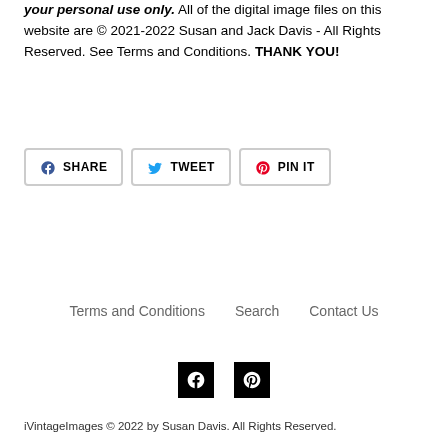your personal use only. All of the digital image files on this website are © 2021-2022 Susan and Jack Davis - All Rights Reserved. See Terms and Conditions. THANK YOU!
[Figure (other): Social sharing buttons: Facebook Share, Twitter Tweet, Pinterest Pin It]
Terms and Conditions   Search   Contact Us
[Figure (other): Social media icons: Facebook and Pinterest]
iVintageImages © 2022 by Susan Davis. All Rights Reserved.